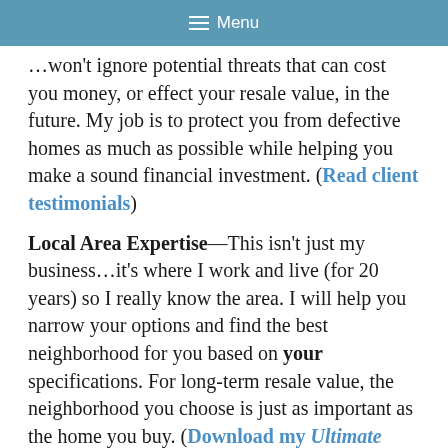≡ Menu
…won't ignore potential threats that can cost you money, or effect your resale value, in the future. My job is to protect you from defective homes as much as possible while helping you make a sound financial investment. (Read client testimonials)
Local Area Expertise—This isn't just my business…it's where I work and live (for 20 years) so I really know the area. I will help you narrow your options and find the best neighborhood for you based on your specifications. For long-term resale value, the neighborhood you choose is just as important as the home you buy. (Download my Ultimate Sugar Land Guide)
Great Data—I will give you the most in-depth data you have ever seen…to help you make the wisest decisions. This includes a professional CMA when you are ready to purchase a specific home…so you don't pay too much. Please see my interactive Home Report (coming soon) included…